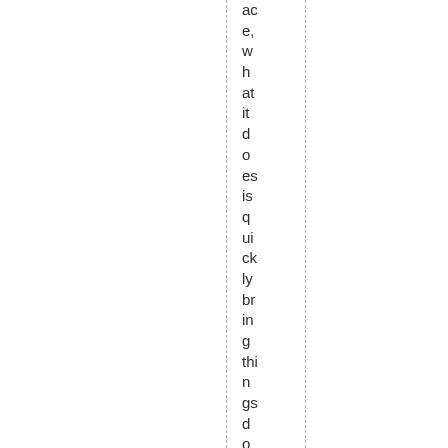ace, what it does is quickly bring things down and and clea